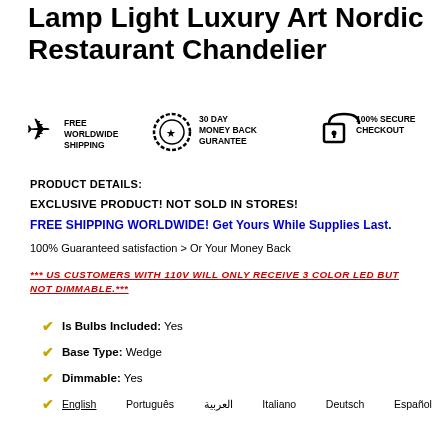Lamp Light Luxury Art Nordic Restaurant Chandelier
[Figure (infographic): Three trust badges: airplane icon with FREE WORLDWIDE SHIPPING, medal icon with 30 DAY MONEY BACK GURANTEE, lock icon with 100% SECURE CHECKOUT]
PRODUCT DETAILS:
EXCLUSIVE PRODUCT! NOT SOLD IN STORES!
FREE SHIPPING WORLDWIDE! Get Yours While Supplies Last.
100% Guaranteed satisfaction > Or Your Money Back
*** US CUSTOMERS WITH 110V WILL ONLY RECEIVE 3 COLOR LED BUT NOT DIMMABLE.***
Is Bulbs Included: Yes
Base Type: Wedge
Dimmable: Yes
English  Português  العربية  Italiano  Deutsch  Español